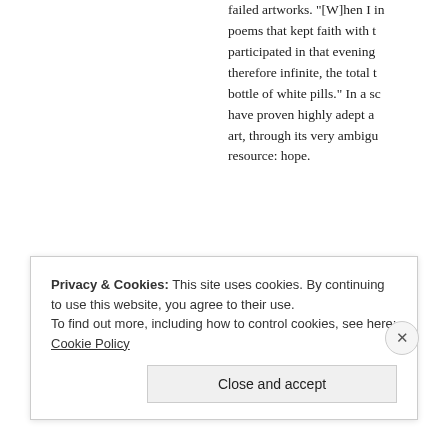failed artworks. "[W]hen I in poems that kept faith with t participated in that evening therefore infinite, the total t bottle of white pills." In a sc have proven highly adept a art, through its very ambig resource: hope.
Privacy & Cookies: This site uses cookies. By continuing to use this website, you agree to their use.
To find out more, including how to control cookies, see here: Cookie Policy
Close and accept